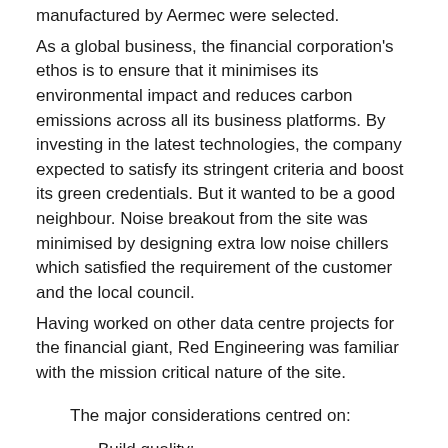manufactured by Aermec were selected.
As a global business, the financial corporation's ethos is to ensure that it minimises its environmental impact and reduces carbon emissions across all its business platforms. By investing in the latest technologies, the company expected to satisfy its stringent criteria and boost its green credentials. But it wanted to be a good neighbour. Noise breakout from the site was minimised by designing extra low noise chillers which satisfied the requirement of the customer and the local council.
Having worked on other data centre projects for the financial giant, Red Engineering was familiar with the mission critical nature of the site.
The major considerations centred on:
Build quality;
Ability to test;
Use of appropriate technology to take advantages of advances in energy consumption, reduced carbon emissions;